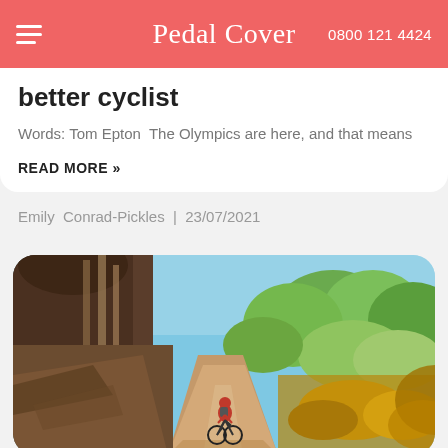Pedal Cover | 0800 121 4424
better cyclist
Words: Tom Epton  The Olympics are here, and that means
READ MORE »
Emily  Conrad-Pickles  |  23/07/2021
[Figure (photo): A cyclist riding away on a dirt trail through a forest landscape with trees and shrubs under a blue sky.]